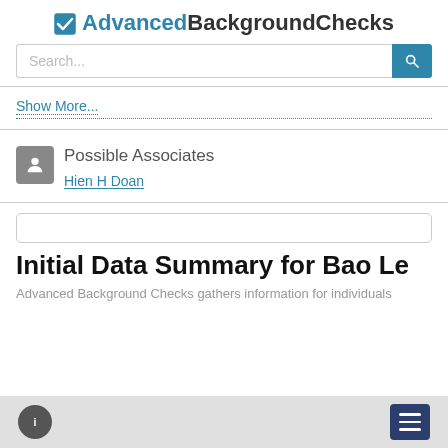AdvancedBackgroundChecks
[Figure (screenshot): Search input bar with blue search button]
Show More...
Possible Associates
Hien H Doan
Initial Data Summary for Bao Le
Advanced Background Checks gathers information for individuals
info icon and menu button